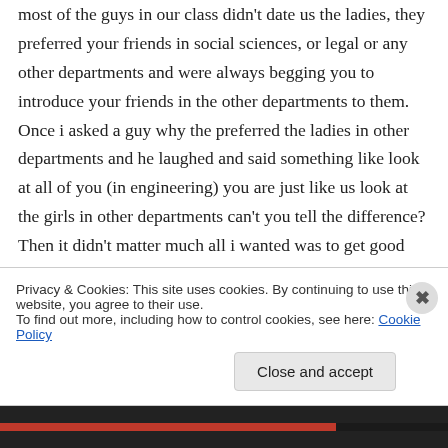most of the guys in our class didn't date us the ladies, they preferred your friends in social sciences, or legal or any other departments and were always begging you to introduce your friends in the other departments to them. Once i asked a guy why the preferred the ladies in other departments and he laughed and said something like look at all of you (in engineering) you are just like us look at the girls in other departments can't you tell the difference? Then it didn't matter much all i wanted was to get good grades and
Privacy & Cookies: This site uses cookies. By continuing to use this website, you agree to their use.
To find out more, including how to control cookies, see here: Cookie Policy
Close and accept